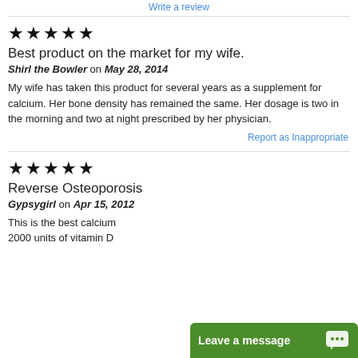Write a review
★★★★★
Best product on the market for my wife.
Shirl the Bowler on May 28, 2014
My wife has taken this product for several years as a supplement for calcium. Her bone density has remained the same. Her dosage is two in the morning and two at night prescribed by her physician.
Report as Inappropriate
★★★★★
Reverse Osteoporosis
Gypsygirl on Apr 15, 2012
This is the best calcium... 2000 units of vitamin D...